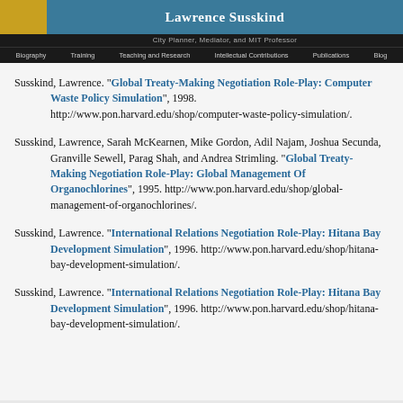Lawrence Susskind — City Planner, Mediator, and MIT Professor
Susskind, Lawrence. "Global Treaty-Making Negotiation Role-Play: Computer Waste Policy Simulation", 1998. http://www.pon.harvard.edu/shop/computer-waste-policy-simulation/.
Susskind, Lawrence, Sarah McKearnen, Mike Gordon, Adil Najam, Joshua Secunda, Granville Sewell, Parag Shah, and Andrea Strimling. "Global Treaty-Making Negotiation Role-Play: Global Management Of Organochlorines", 1995. http://www.pon.harvard.edu/shop/global-management-of-organochlorines/.
Susskind, Lawrence. "International Relations Negotiation Role-Play: Hitana Bay Development Simulation", 1996. http://www.pon.harvard.edu/shop/hitana-bay-development-simulation/.
Susskind, Lawrence. "International Relations Negotiation Role-Play: Hitana Bay Development Simulation", 1996. http://www.pon.harvard.edu/shop/hitana-bay-development-simulation/.